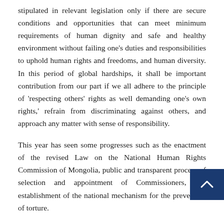stipulated in relevant legislation only if there are secure conditions and opportunities that can meet minimum requirements of human dignity and safe and healthy environment without failing one's duties and responsibilities to uphold human rights and freedoms, and human diversity. In this period of global hardships, it shall be important contribution from our part if we all adhere to the principle of 'respecting others' rights as well demanding one's own rights,' refrain from discriminating against others, and approach any matter with sense of responsibility.
This year has seen some progresses such as the enactment of the revised Law on the National Human Rights Commission of Mongolia, public and transparent process of selection and appointment of Commissioners, and establishment of the national mechanism for the prevention of torture.
National Human Rights Commission of Mongolia expresses its increased commitment to closely collaborating with all relevant parties by overseeing the implementation of human